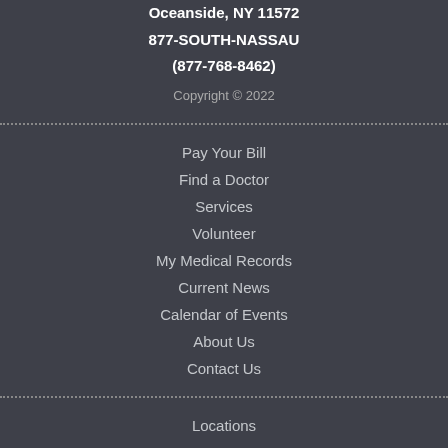Oceanside, NY 11572
877-SOUTH-NASSAU
(877-768-8462)
Copyright © 2022
Pay Your Bill
Find a Doctor
Services
Volunteer
My Medical Records
Current News
Calendar of Events
About Us
Contact Us
Locations
Careers
Nursing